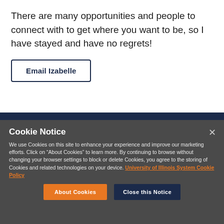There are many opportunities and people to connect with to get where you want to be, so I have stayed and have no regrets!
Email Izabelle
Cookie Notice
We use Cookies on this site to enhance your experience and improve our marketing efforts. Click on “About Cookies” to learn more. By continuing to browse without changing your browser settings to block or delete Cookies, you agree to the storing of Cookies and related technologies on your device. University of Illinois System Cookie Policy
About Cookies
Close this Notice